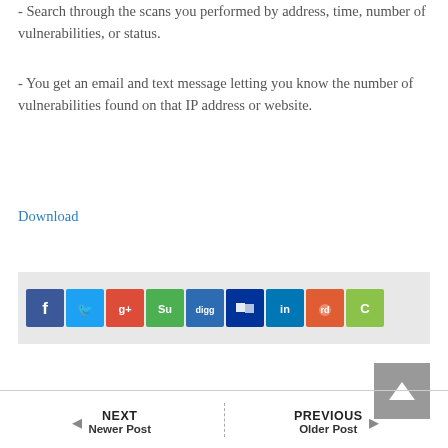- Search through the scans you performed by address, time, number of vulnerabilities, or status.
- You get an email and text message letting you know the number of vulnerabilities found on that IP address or website.
Download
[Figure (infographic): Row of social media sharing icons: Facebook, Twitter, Google+, StumbleUpon, Digg, Delicious, LinkedIn, Reddit, and one more icon on a light grey background bar.]
[Figure (other): Grey scroll-to-top button with upward triangle arrow.]
NEXT Newer Post
PREVIOUS Older Post